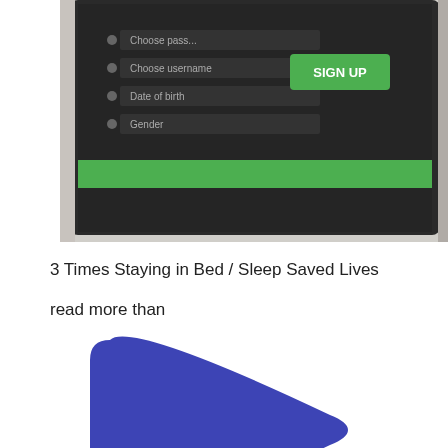[Figure (screenshot): A smartphone displaying a dark-themed mobile app sign-up screen with green button labeled SIGN UP and form fields including Choose password, Choose username, Date of birth, Gender.]
3 Times Staying in Bed / Sleep Saved Lives
read more than
[Figure (illustration): A large blue rounded right-pointing play button triangle shape on white background.]